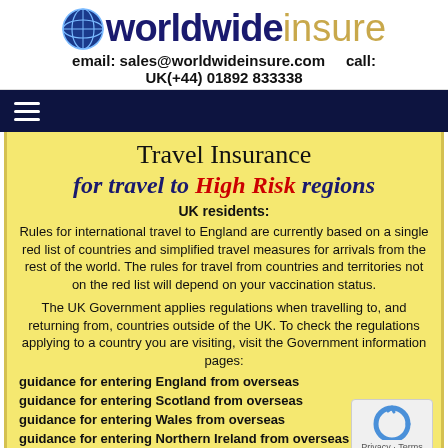[Figure (logo): Worldwide Insure logo with globe icon, 'worldwide' in dark navy bold and 'insure' in gold/tan light weight]
email: sales@worldwideinsure.com    call: UK(+44) 01892 833338
[Figure (other): Dark navy navigation bar with white hamburger menu icon]
Travel Insurance
for travel to High Risk regions
UK residents:
Rules for international travel to England are currently based on a single red list of countries and simplified travel measures for arrivals from the rest of the world. The rules for travel from countries and territories not on the red list will depend on your vaccination status.
The UK Government applies regulations when travelling to, and returning from, countries outside of the UK. To check the regulations applying to a country you are visiting, visit the Government information pages:
guidance for entering England from overseas
guidance for entering Scotland from overseas
guidance for entering Wales from overseas
guidance for entering Northern Ireland from overseas